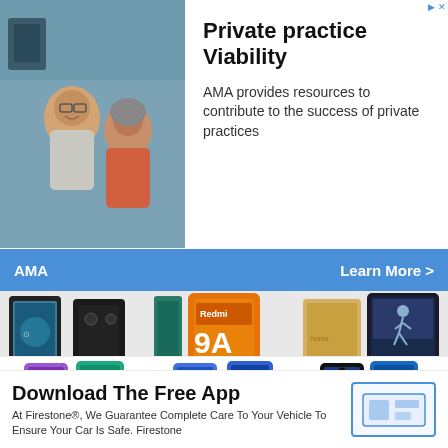[Figure (photo): Doctor or medical professional smiling with a patient in an office setting]
Private practice Viability
AMA provides resources to contribute to the success of private practices
AMA    Learn More >
[Figure (photo): Samsung Galaxy A5 smartphone shown from front and back]
Samsung Galaxy A5
[Figure (photo): Redmi 9A Sport smartphone shown with orange branded back]
Redmi 9A Sport
[Figure (photo): Honor 6A Pro smartphone shown from front and back in gold and dark colors]
Honor 6A Pro
[Figure (photo): Row of smartphones in blue/teal colors, second row]
Download The Free App
At Firestone®, We Guarantee Complete Care To Your Vehicle To Ensure Your Car Is Safe. Firestone